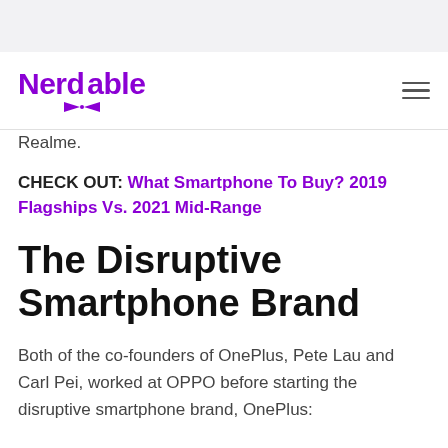Nerdable
Realme.
CHECK OUT: What Smartphone To Buy? 2019 Flagships Vs. 2021 Mid-Range
The Disruptive Smartphone Brand
Both of the co-founders of OnePlus, Pete Lau and Carl Pei, worked at OPPO before starting the disruptive smartphone brand, OnePlus: